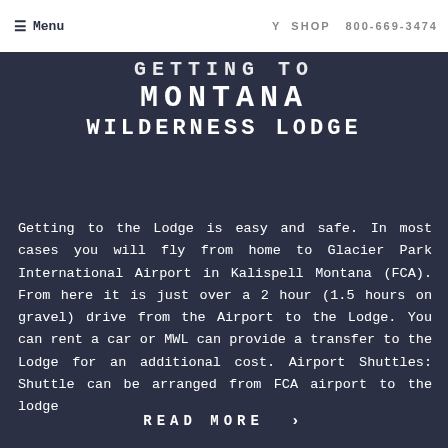≡ Menu  Y SHOP  800-669-3474
GETTING TO MONTANA WILDERNESS LODGE
Getting to the Lodge is easy and safe. In most cases you will fly from home to Glacier Park International Airport in Kalispell Montana (FCA). From here it is just over a 2 hour (1.5 hours on gravel) drive from the Airport to the Lodge. You can rent a car or MWL can provide a transfer to the Lodge for an additional cost. Airport Shuttles: Shuttle can be arranged from FCA airport to the lodge
READ MORE ›